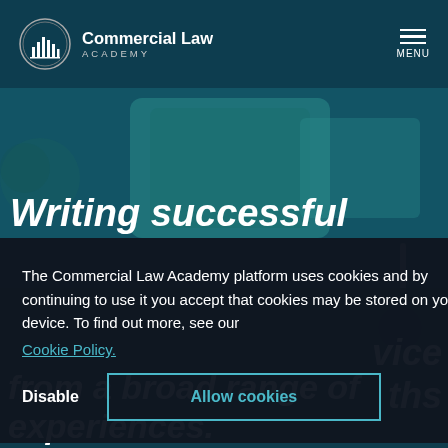[Figure (logo): Commercial Law Academy logo with circular icon and text]
The Commercial Law Academy platform uses cookies and by continuing to use it you accept that cookies may be stored on your device. To find out more, see our Cookie Policy.
Disable
Allow cookies
Writing successful
vice
ths
from a broad range of experiences.